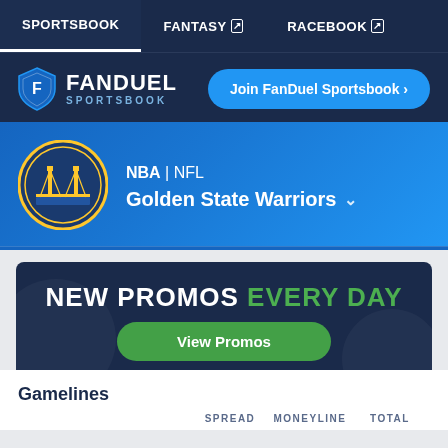SPORTSBOOK | FANTASY | RACEBOOK
[Figure (logo): FanDuel Sportsbook logo with shield icon and 'Join FanDuel Sportsbook >' button]
[Figure (logo): Golden State Warriors circular team logo with Golden Gate Bridge]
NBA | NFL
Golden State Warriors
Odds  Schedule  Stats  Players  News
[Figure (infographic): Promotional banner: NEW PROMOS EVERY DAY with View Promos button]
Gamelines
SPREAD  MONEYLINE  TOTAL